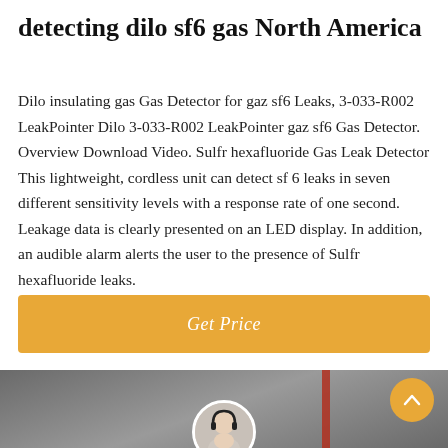detecting dilo sf6 gas North America
Dilo insulating gas Gas Detector for gaz sf6 Leaks, 3-033-R002 LeakPointer Dilo 3-033-R002 LeakPointer gaz sf6 Gas Detector. Overview Download Video. Sulfr hexafluoride Gas Leak Detector This lightweight, cordless unit can detect sf 6 leaks in seven different sensitivity levels with a response rate of one second. Leakage data is clearly presented on an LED display. In addition, an audible alarm alerts the user to the presence of Sulfr hexafluoride leaks.
[Figure (other): Orange 'Get Price' button]
[Figure (photo): Industrial/electrical equipment image with dark overlay bar at bottom showing 'Leave Message' and 'Chat Online' links, a customer service avatar in the center, and an orange up-arrow button in the top right]